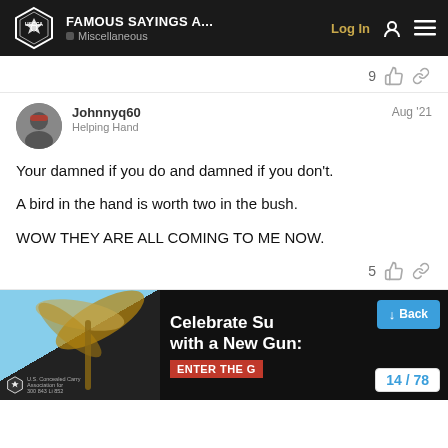FAMOUS SAYINGS A... | Miscellaneous | Log In
9 [likes] [link]
Johnnyq60 | Helping Hand | Aug '21
Your damned if you do and damned if you don't.

A bird in the hand is worth two in the bush.

WOW THEY ARE ALL COMING TO ME NOW.
5 [likes] [link]
[Figure (screenshot): Advertisement banner for USCCA: 'Celebrate Su... with a New Gun: ENTER THE G...' with palm tree background image and USCCA logo. Overlaid with a blue Back button and pagination '14 / 78'.]